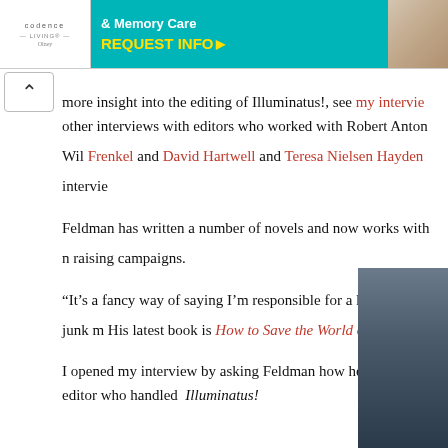[Figure (other): Cadence Living advertisement banner for Memory Care with REQUEST INFO button and photo of elderly people]
more insight into the editing of Illuminatus!, see my interview and other interviews with editors who worked with Robert Anton Wilson: James Frenkel and David Hartwell and Teresa Nielsen Hayden interview...
Feldman has written a number of novels and now works with nonprofit fundraising campaigns.
“It’s a fancy way of saying I’m responsible for a lot of the junk mail… His latest book is How to Save the World on $5 a Day.
I opened my interview by asking Feldman how he became the editor who handled Illuminatus!
[Figure (photo): Photo of a man in a dark suit, partially cropped, bottom right of page]